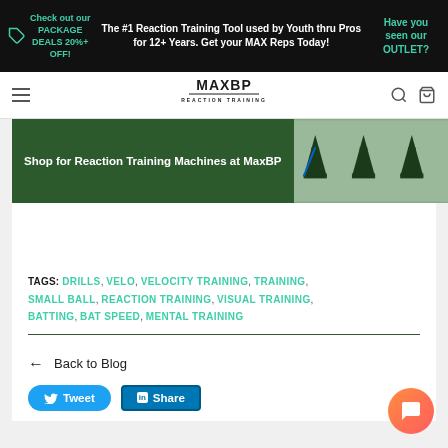Check out our PACKAGE DEALS 20%+ OFF! | The #1 Reaction Training Tool used by Youth thru Pros for 12+ Years. Get your MAX Reps Today! | Have you seen our OUTLET?
[Figure (logo): MaxBP Reaction Training logo in navigation bar]
[Figure (screenshot): Hero banner: Shop for Reaction Training Machines at MaxBP with dark green overlay and product images]
TAGS: DRILLS, VELO, VELOCITY TRAINING, TRAINING, SMALL BALL, REACTION TRAINING, VISUAL TRAINING, BATTING, BAT SPEED, MENTAL TRAINING
← Back to Blog
[Figure (other): Tweet and Share social media buttons]